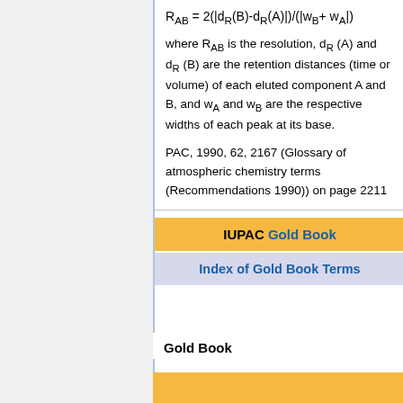where R_AB is the resolution, d_R (A) and d_R (B) are the retention distances (time or volume) of each eluted component A and B, and w_A and w_B are the respective widths of each peak at its base.
PAC, 1990, 62, 2167 (Glossary of atmospheric chemistry terms (Recommendations 1990)) on page 2211
IUPAC Gold Book
Index of Gold Book Terms
Gold Book